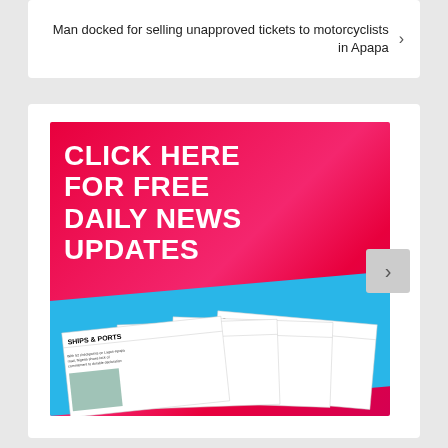Man docked for selling unapproved tickets to motorcyclists in Apapa
[Figure (illustration): Advertisement banner with red-to-pink gradient background and cyan blue lower section showing stacked newspaper issues of Ships & Ports. White bold text reads CLICK HERE FOR FREE DAILY NEWS UPDATES.]